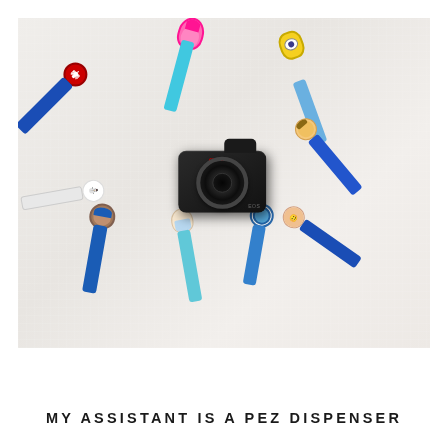[Figure (photo): Overhead flat-lay photo of a Canon DSLR camera surrounded by multiple PEZ dispensers (Spider-Man, Trolls Poppy, Minion, Woody, Anna, Buzz Lightyear, Elsa, Chase from PAW Patrol, Olaf) arranged in a circular pattern on a white fluffy background.]
MY ASSISTANT IS A PEZ DISPENSER